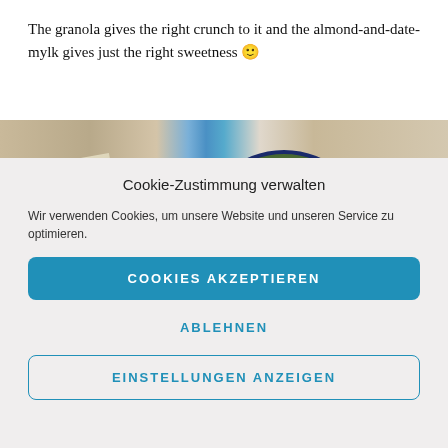The granola gives the right crunch to it and the almond-and-date-mylk gives just the right sweetness 🙂
[Figure (photo): Top-down photo of a wooden surface with a blue-labeled Testa product box and a decorative bowl with food, partially cropped.]
Cookie-Zustimmung verwalten
Wir verwenden Cookies, um unsere Website und unseren Service zu optimieren.
COOKIES AKZEPTIEREN
ABLEHNEN
EINSTELLUNGEN ANZEIGEN